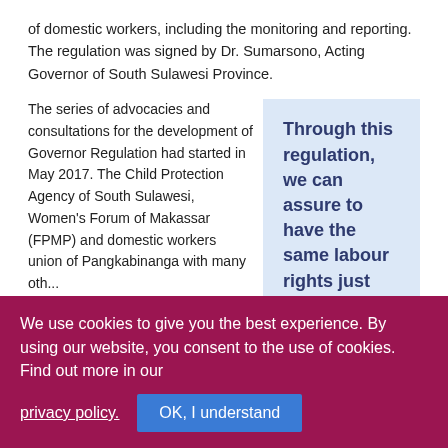of domestic workers, including the monitoring and reporting. The regulation was signed by Dr. Sumarsono, Acting Governor of South Sulawesi Province.
The series of advocacies and consultations for the development of Governor Regulation had started in May 2017. The Child Protection Agency of South Sulawesi, Women's Forum of Makassar (FPMP) and domestic workers union of Pangkabinanga with many oth...
Through this regulation, we can assure to have the same labour rights just like other workers."

Jusmiaty, Chair of
We use cookies to give you the best experience. By using our website, you consent to the use of cookies. Find out more in our
privacy policy.
OK, I understand